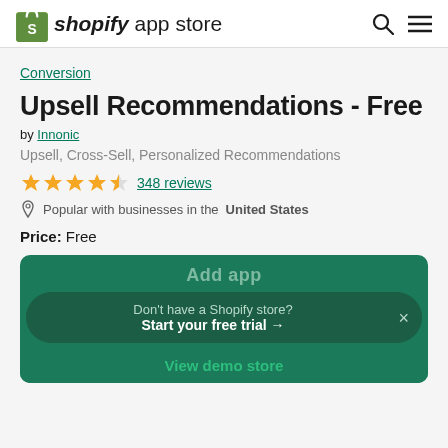shopify app store
Conversion
Upsell Recommendations - Free
by Innonic
Upsell, Cross-Sell, Personalized Recommendations
★★★★½ 348 reviews
Popular with businesses in the United States
Price: Free
Add app
Don't have a Shopify store? Start your free trial →
View demo store